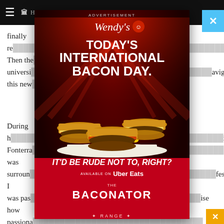Navigation bar with hamburger menu and site logo
finally re... ori.
Then the... university... navigated this new...
During h... ith Fonterra... "I was surroun... fession I was pas... ise how passiona...
After her... nship at
[Figure (screenshot): Wendy's advertisement overlay for International Bacon Day featuring three Baconator burgers on a dark red background with red light rays. Text reads: ADVERTISEMENT, Wendy's logo, TODAY'S INTERNATIONAL BACON DAY., IT'D BE RUDE NOT TO, RIGHT?, AVAILABLE ON Uber Eats, THE BACONATOR RANGE. Close button (X) in top right corner in blue. Small X in bottom right corner in gold/orange.]